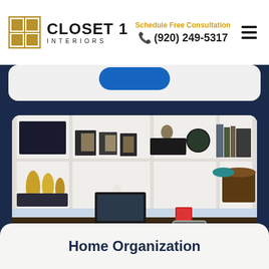CLOSET 1 INTERIORS — Schedule Free Consultation (920) 249-5317
[Figure (photo): Home office with built-in white shelving, dark countertop desk, monitor, decorative items, and a clear acrylic chair]
Home Organization